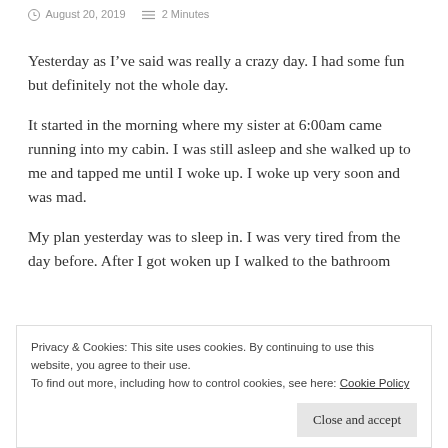August 20, 2019   2 Minutes
Yesterday as I’ve said was really a crazy day. I had some fun but definitely not the whole day.
It started in the morning where my sister at 6:00am came running into my cabin. I was still asleep and she walked up to me and tapped me until I woke up. I woke up very soon and was mad.
My plan yesterday was to sleep in. I was very tired from the day before. After I got woken up I walked to the bathroom
Privacy & Cookies: This site uses cookies. By continuing to use this website, you agree to their use.
To find out more, including how to control cookies, see here: Cookie Policy